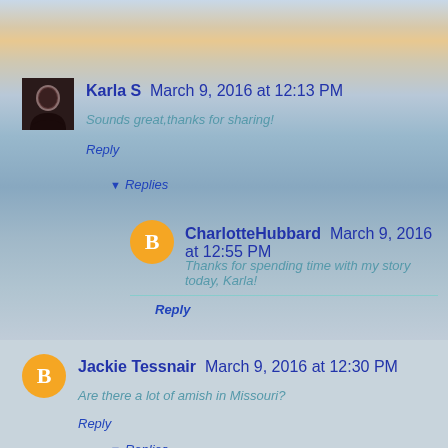[Figure (photo): Avatar photo of Karla S, a woman with dark hair]
Karla S  March 9, 2016 at 12:13 PM
Sounds great,thanks for sharing!
Reply
▾ Replies
[Figure (logo): Blogger icon - orange circle with white B]
CharlotteHubbard  March 9, 2016 at 12:55 PM
Thanks for spending time with my story today, Karla!
Reply
[Figure (logo): Blogger icon - orange circle with white B]
Jackie Tessnair  March 9, 2016 at 12:30 PM
Are there a lot of amish in Missouri?
Reply
▾ Replies